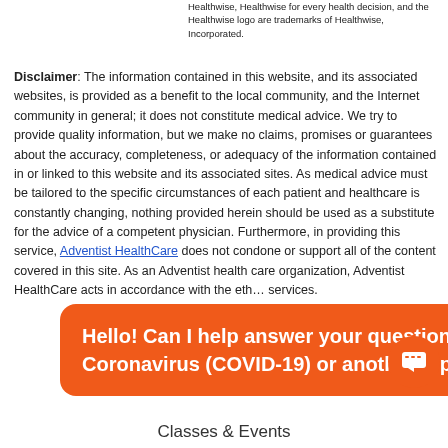Healthwise, Healthwise for every health decision, and the Healthwise logo are trademarks of Healthwise, Incorporated.
Disclaimer: The information contained in this website, and its associated websites, is provided as a benefit to the local community, and the Internet community in general; it does not constitute medical advice. We try to provide quality information, but we make no claims, promises or guarantees about the accuracy, completeness, or adequacy of the information contained in or linked to this website and its associated sites. As medical advice must be tailored to the specific circumstances of each patient and healthcare is constantly changing, nothing provided herein should be used as a substitute for the advice of a competent physician. Furthermore, in providing this service, Adventist HealthCare does not condone or support all of the content covered in this site. As an Adventist health care organization, Adventist HealthCare acts in accordance with the eth... services.
Hello! Can I help answer your questions about Coronavirus (COVID-19) or another topic?
Classes & Events